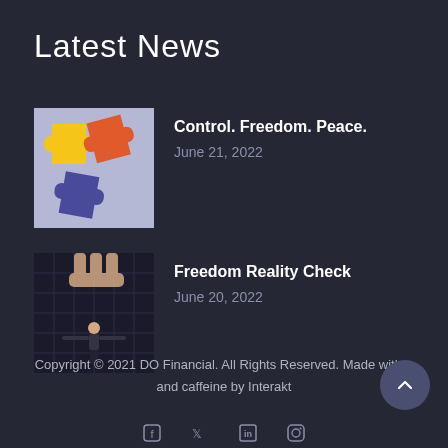Latest News
[Figure (illustration): Colorful jigsaw puzzle pieces — yellow, orange/red, and blue/purple — on a light lavender background]
Control. Freedom. Peace.
June 21, 2022
[Figure (photo): A businessman in a suit standing with arms outstretched like wings, with a giant hand above him on a dark textured grid background]
Freedom Reality Check
June 20, 2022
Copyright © 2021 DO Financial. All Rights Reserved. Made with ♥ and caffeine by Interakt